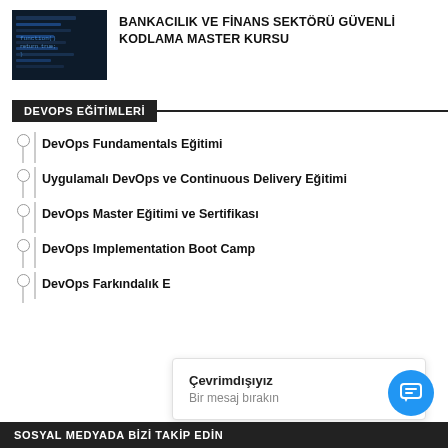[Figure (photo): Dark background image showing code on a screen, used as course thumbnail]
BANKACILIK VE FİNANS SEKTÖRÜ GÜVENLİ KODLAMA MASTER KURSU
DEVOPS EĞİTİMLERİ
DevOps Fundamentals Eğitimi
Uygulamalı DevOps ve Continuous Delivery Eğitimi
DevOps Master Eğitimi ve Sertifikası
DevOps Implementation Boot Camp
DevOps Farkındalık E...
Çevrimdışıyız
Bir mesaj bırakın
SOSYAL MEDYADA BİZİ TAKİP EDİN